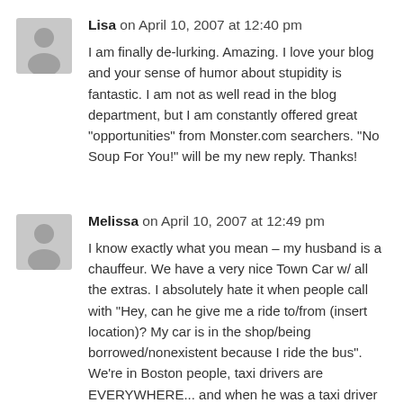Lisa on April 10, 2007 at 12:40 pm
I am finally de-lurking. Amazing. I love your blog and your sense of humor about stupidity is fantastic. I am not as well read in the blog department, but I am constantly offered great "opportunities" from Monster.com searchers. “No Soup For You!” will be my new reply. Thanks!
Melissa on April 10, 2007 at 12:49 pm
I know exactly what you mean – my husband is a chauffeur. We have a very nice Town Car w/ all the extras. I absolutely hate it when people call with “Hey, can he give me a ride to/from (insert location)? My car is in the shop/being borrowed/nonexistent because I ride the bus”. We’re in Boston people, taxi drivers are EVERYWHERE... and when he was a taxi driver